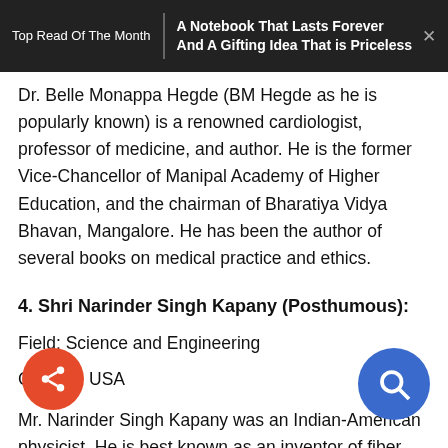Top Read Of The Month | A Notebook That Lasts Forever And A Gifting Idea That is Priceless
Dr. Belle Monappa Hegde (BM Hegde as he is popularly known) is a renowned cardiologist, professor of medicine, and author. He is the former Vice-Chancellor of Manipal Academy of Higher Education, and the chairman of Bharatiya Vidya Bhavan, Mangalore. He has been the author of several books on medical practice and ethics.
4. Shri Narinder Singh Kapany (Posthumous):
Field: Science and Engineering
Country: USA
Mr. Narinder Singh Kapany was an Indian-American physicist. He is best known as an inventor of fiber optics and is considered the 'Father of Fiber Optics' which has transformed communication and image...